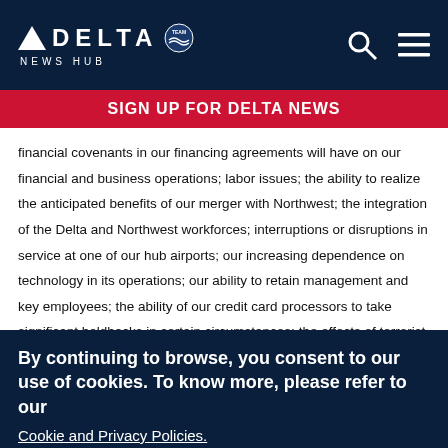DELTA NEWS HUB
SIGN UP FOR DELTA NEWS
financial covenants in our financing agreements will have on our financial and business operations; labor issues; the ability to realize the anticipated benefits of our merger with Northwest; the integration of the Delta and Northwest workforces; interruptions or disruptions in service at one of our hub airports; our increasing dependence on technology in its operations; our ability to retain management and key employees; the ability of our credit card processors to take significant holdbacks in certain circumstances; the effects of terrorist attacks; and competitive conditions in
By continuing to browse, you consent to our use of cookies. To know more, please refer to our Cookie and Privacy Policies.